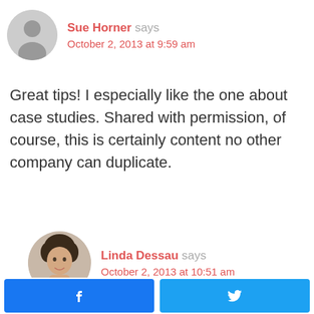Sue Horner says
October 2, 2013 at 9:59 am
Great tips! I especially like the one about case studies. Shared with permission, of course, this is certainly content no other company can duplicate.
Linda Dessau says
October 2, 2013 at 10:51 am
[Figure (illustration): Facebook share button (blue) and Twitter share button (blue) at bottom of page]